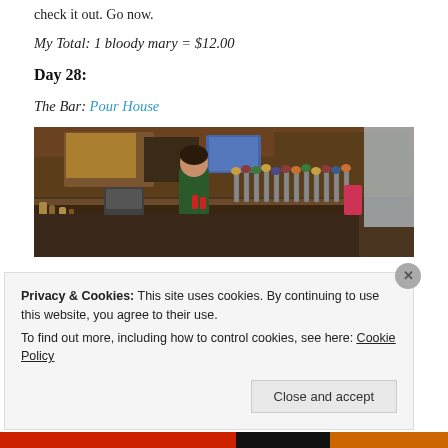check it out. Go now.
My Total: 1 bloody mary = $12.00
Day 28:
The Bar: Pour House
[Figure (photo): Interior of Pour House bar showing bartender behind a long bar counter with many beer taps, bottles, and bar equipment. Signs and TVs visible in background.]
Privacy & Cookies: This site uses cookies. By continuing to use this website, you agree to their use.
To find out more, including how to control cookies, see here: Cookie Policy
Close and accept